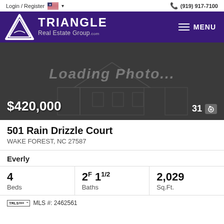Login / Register  (919) 917-7100
[Figure (logo): Triangle Real Estate Group logo with white triangle icon and TRIANGLE Real Estate Group.com text on purple background, with hamburger MENU button]
[Figure (photo): Loading Photo... placeholder image showing faint house outline on dark background, with $420,000 price and 31 photo count]
501 Rain Drizzle Court
WAKE FOREST, NC 27587
Everly
| Beds | Baths | Sq.Ft. |
| --- | --- | --- |
| 4 | 2F 1 1/2 | 2,029 |
TMLS IDX MLS #: 2462561